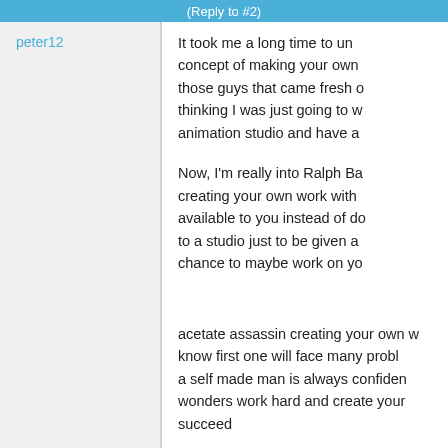(Reply to #2)
peter12
It took me a long time to understand the concept of making your own work. I was one of those guys that came fresh out of school thinking I was just going to work at an animation studio and have a
Now, I'm really into Ralph Ba... creating your own work with what's available to you instead of depending to a studio just to be given a chance to maybe work on yo
acetate assassin creating your own w... know first one will face many proble... a self made man is always confiden... wonders work hard and create your... succeed
—
Animation Studio Delhi
Animation Studios in Delhi